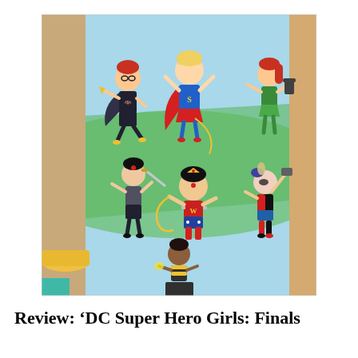[Figure (illustration): Colorful cartoon illustration of DC Super Hero Girls characters including Wonder Woman, Supergirl, Batgirl, Harley Quinn, Poison Ivy, and others in action poses against a light blue and green background.]
Review: 'DC Super Hero Girls: Finals